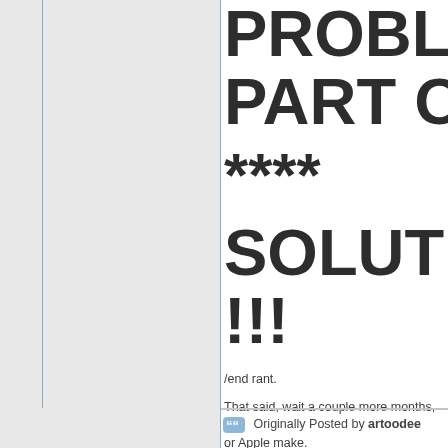PROBLEM PART OF THE SOLUTION!!! ****
/end rant.

That said, wait a couple more months, coming out that promises to kick the ** or Apple make.
Originally Posted by artoodee